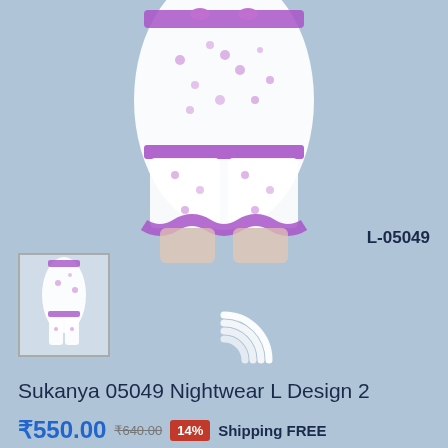[Figure (photo): Product photo of Sukanya 05049 Nightwear L Design 2 - white and purple floral nightwear set displayed on a model, cropped to show waist down area]
L-05049
[Figure (photo): Small thumbnail image of the full nightwear product showing model wearing the Sukanya 05049 nightwear]
[Figure (other): Loading spinner animation - white concentric arcs on blue background]
Sukanya 05049 Nightwear L Design 2
₹550.00  ₹640.00  14%  Shipping FREE
Delivery Check
Available offers
Get GST invoice and save up to 28% on business purchases
T&C